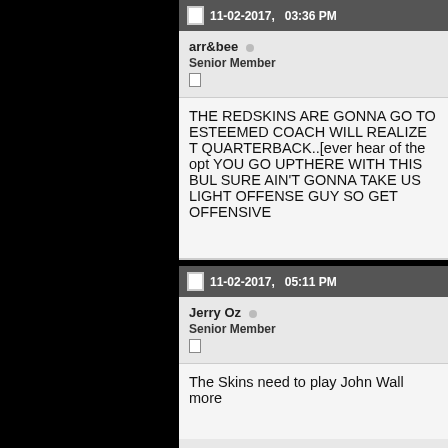11-02-2017, 03:36 PM
arr&bee
Senior Member
THE REDSKINS ARE GONNA GO TO ESTEEMED COACH WILL REALIZE T QUARTERBACK..[ever hear of the opt YOU GO UPTHERE WITH THIS BUL SURE AIN'T GONNA TAKE US LIGHT OFFENSE GUY SO GET OFFENSIVE
11-02-2017, 05:11 PM
Jerry Oz
Senior Member
The Skins need to play John Wall more